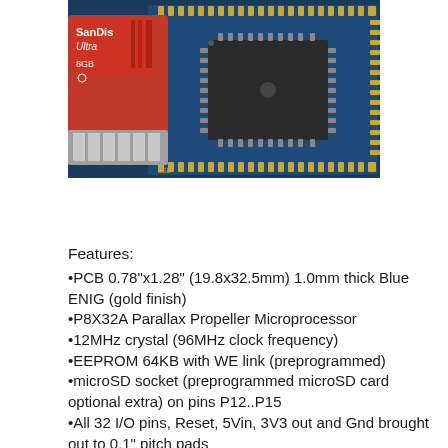[Figure (photo): Photo of a blue PCB microcontroller board (Parallax Propeller based) next to a SanDisk Ultra 8GB microSD card. The board has a large LQFP chip in the center and gold-finish pads around the edges.]
Features:
•PCB 0.78"x1.28" (19.8x32.5mm) 1.0mm thick Blue ENIG (gold finish)
•P8X32A Parallax Propeller Microprocessor
•12MHz crystal (96MHz clock frequency)
•EEPROM 64KB with WE link (preprogrammed)
•microSD socket (preprogrammed microSD card optional extra) on pins P12..P15
•All 32 I/O pins, Reset, 5Vin, 3V3 out and Gnd brought out to 0.1" pitch pads
•Onboard 3V3 voltage regulator
•Onboard (linkable) transistor reset circuit
•Onboard series resistors (linkable 0/68R/136R) and 3V6 zener diode protection on both P30 & P31 lines